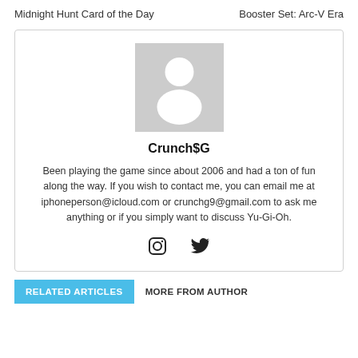Midnight Hunt Card of the Day    Booster Set: Arc-V Era
[Figure (photo): Author profile card with gray placeholder avatar image, username Crunch$G, bio text, and social media icons for Instagram and Twitter]
Crunch$G
Been playing the game since about 2006 and had a ton of fun along the way. If you wish to contact me, you can email me at iphoneperson@icloud.com or crunchg9@gmail.com to ask me anything or if you simply want to discuss Yu-Gi-Oh.
RELATED ARTICLES    MORE FROM AUTHOR